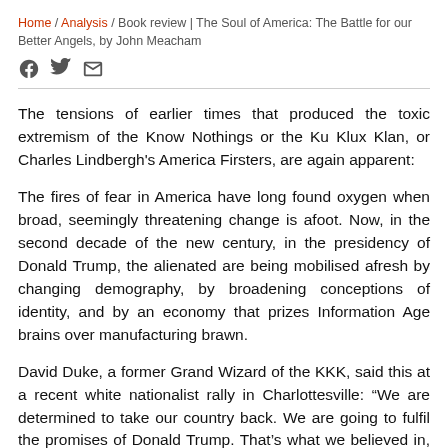Home / Analysis / Book review | The Soul of America: The Battle for our Better Angels, by John Meacham
The tensions of earlier times that produced the toxic extremism of the Know Nothings or the Ku Klux Klan, or Charles Lindbergh's America Firsters, are again apparent:
The fires of fear in America have long found oxygen when broad, seemingly threatening change is afoot. Now, in the second decade of the new century, in the presidency of Donald Trump, the alienated are being mobilised afresh by changing demography, by broadening conceptions of identity, and by an economy that prizes Information Age brains over manufacturing brawn.
David Duke, a former Grand Wizard of the KKK, said this at a recent white nationalist rally in Charlottesville: “We are determined to take our country back. We are going to fulfil the promises of Donald Trump. That’s what we believed in, that’s why we voted for Donald Trump.”